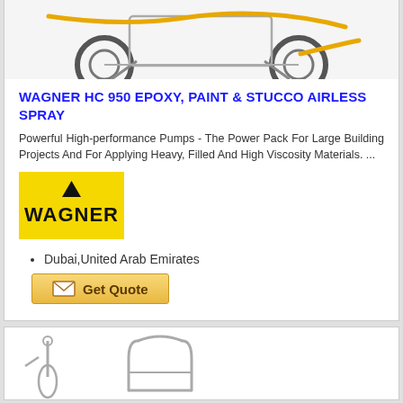[Figure (photo): Top portion of Wagner HC 950 airless spray machine on wheels with yellow hose, partially cropped at top]
WAGNER HC 950 EPOXY, PAINT & STUCCO AIRLESS SPRAY
Powerful High-performance Pumps - The Power Pack For Large Building Projects And For Applying Heavy, Filled And High Viscosity Materials. ...
[Figure (logo): Wagner logo: black triangle/arrow above bold WAGNER text on yellow background]
Dubai,United Arab Emirates
[Figure (other): Get Quote button with envelope icon, orange/gold gradient background]
[Figure (photo): Bottom card showing partial images of spray equipment tools on white background]